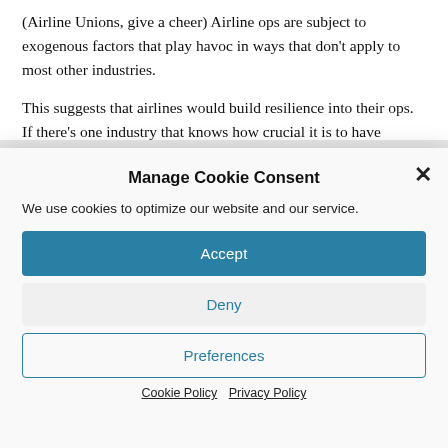(Airline Unions, give a cheer)  Airline ops are subject to exogenous factors that play havoc in ways that don't apply to most other industries.
This suggests that airlines would build resilience into their ops. If there's one industry that knows how crucial it is to have [text cut off]
Manage Cookie Consent
We use cookies to optimize our website and our service.
Accept
Deny
Preferences
Cookie Policy  Privacy Policy